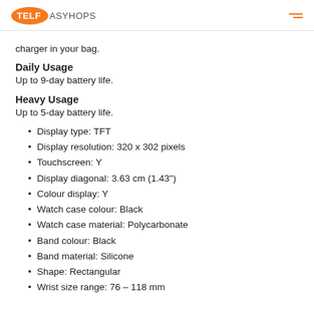TELFASYHOPS
charger in your bag.
Daily Usage
Up to 9-day battery life.
Heavy Usage
Up to 5-day battery life.
Display type: TFT
Display resolution: 320 x 302 pixels
Touchscreen: Y
Display diagonal: 3.63 cm (1.43")
Colour display: Y
Watch case colour: Black
Watch case material: Polycarbonate
Band colour: Black
Band material: Silicone
Shape: Rectangular
Wrist size range: 76 – 118 mm